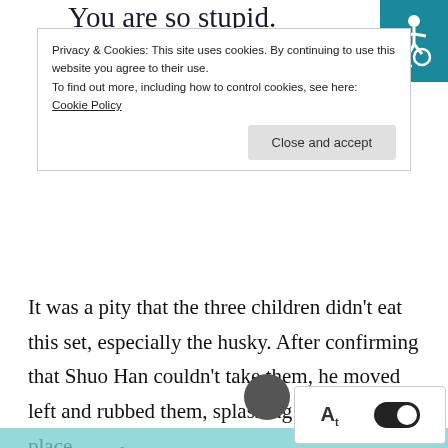You are so stupid.
Privacy & Cookies: This site uses cookies. By continuing to use this website you agree to their use.
To find out more, including how to control cookies, see here: Cookie Policy
Close and accept
It was a pity that the three children didn't eat this set, especially the husky. After confirming that Shuo Han couldn't take them, he moved left and rubbed them, splashing all over the place.
Shuo Han frowned even more tightly with an angry expression.
Although it was not suitable, Gu YuMian w... laugh, especially seeing Shuo Han's clums... irritated...